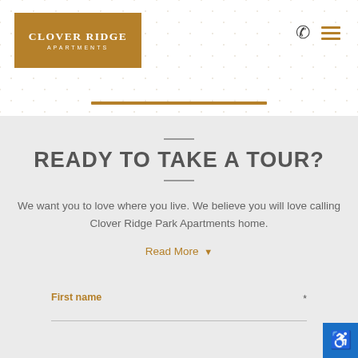[Figure (logo): Clover Ridge Apartments logo: gold/brown rectangle with white text]
[Figure (other): Phone icon and hamburger menu icon in top right header]
READY TO TAKE A TOUR?
We want you to love where you live. We believe you will love calling Clover Ridge Park Apartments home.
Read More ▾
First name *